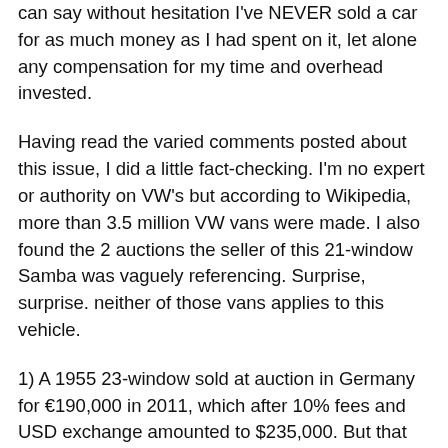can say without hesitation I've NEVER sold a car for as much money as I had spent on it, let alone any compensation for my time and overhead invested.
Having read the varied comments posted about this issue, I did a little fact-checking. I'm no expert or authority on VW's but according to Wikipedia, more than 3.5 million VW vans were made. I also found the 2 auctions the seller of this 21-window Samba was vaguely referencing. Surprise, surprise. neither of those vans applies to this vehicle.
1) A 1955 23-window sold at auction in Germany for €190,000 in 2011, which after 10% fees and USD exchange amounted to $235,000. But that was for an extremely rare 23-window, one of only 11 made. This 1964